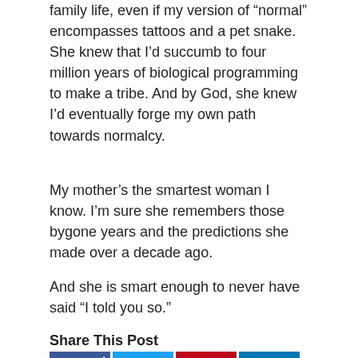family life, even if my version of “normal” encompasses tattoos and a pet snake. She knew that I’d succumb to four million years of biological programming to make a tribe. And by God, she knew I’d eventually forge my own path towards normalcy.
My mother’s the smartest woman I know. I’m sure she remembers those bygone years and the predictions she made over a decade ago.
And she is smart enough to never have said “I told you so.”
Share This Post
[Figure (infographic): Social share buttons: Facebook (with count 4), Twitter, Pinterest, LinkedIn in first row; WordPress, Reddit, Email in second row]
tagged with children, commitment, growing up